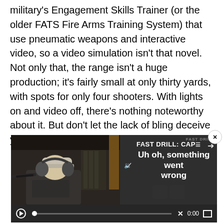military's Engagement Skills Trainer (or the older FATS Fire Arms Training System) that use pneumatic weapons and interactive video, so a video simulation isn't that novel. Not only that, the range isn't a huge production; it's fairly small at only thirty yards, with spots for only four shooters. With lights on and video off, there's nothing noteworthy about it. But don't let the lack of bling deceive you.
[Figure (screenshot): Video player showing a person at a shooting range aiming. The player shows an error message 'Uh oh, something went wrong' with 'FAST DRILL: CAP' as title text. A close button (x) is visible top right. Controls show a play button, progress bar with X marker, 0:00 timestamp, and fullscreen button.]